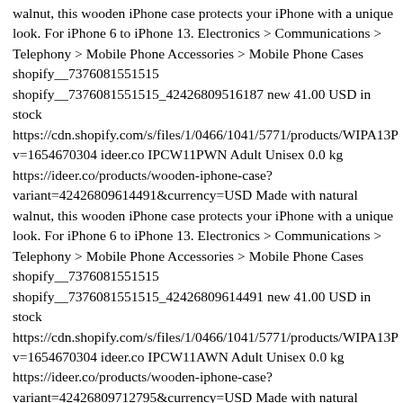walnut, this wooden iPhone case protects your iPhone with a unique look. For iPhone 6 to iPhone 13. Electronics > Communications > Telephony > Mobile Phone Accessories > Mobile Phone Cases shopify__7376081551515 shopify__7376081551515_42426809516187 new 41.00 USD in stock https://cdn.shopify.com/s/files/1/0466/1041/5771/products/WIPA13P v=1654670304 ideer.co IPCW11PWN Adult Unisex 0.0 kg https://ideer.co/products/wooden-iphone-case?variant=42426809614491&currency=USD Made with natural walnut, this wooden iPhone case protects your iPhone with a unique look. For iPhone 6 to iPhone 13. Electronics > Communications > Telephony > Mobile Phone Accessories > Mobile Phone Cases shopify__7376081551515 shopify__7376081551515_42426809614491 new 41.00 USD in stock https://cdn.shopify.com/s/files/1/0466/1041/5771/products/WIPA13P v=1654670304 ideer.co IPCW11AWN Adult Unisex 0.0 kg https://ideer.co/products/wooden-iphone-case?variant=42426809712795&currency=USD Made with natural walnut, this wooden iPhone case protects your iPhone with a unique look. For iPhone 6 to iPhone 13. Electronics > Communications > Telephony > Mobile Phone Accessories > Mobile Phone Cases shopify__7376081551515 shopify__7376081551515_42426809712795 new 41.00 USD in